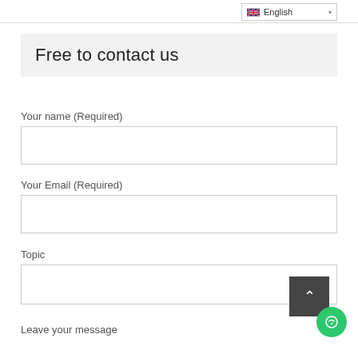English
Free to contact us
Your name (Required)
[Figure (screenshot): Empty text input field for Your name]
Your Email (Required)
[Figure (screenshot): Empty text input field for Your Email]
Topic
[Figure (screenshot): Empty text input field for Topic]
Leave your message